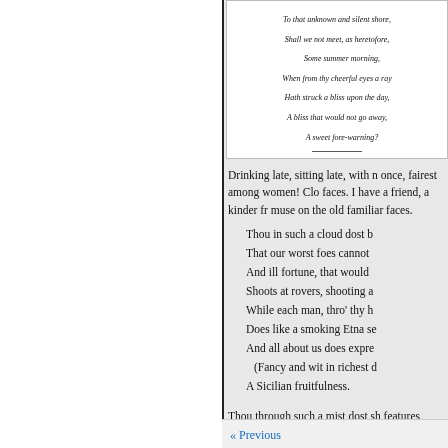[Figure (other): Partial poem verse in italic font within a white box on grey background, showing lines: 'To that unknown and silent shore, / Shall we not meet, as heretofore, / Some summer morning, / When from thy cheerful eyes a ray / Hath struck a bliss upon the day, / A bliss that would not go away, / A sweet fore-warning?']
Drinking late, sitting late, with n once, fairest among women! Clo faces. I have a friend, a kinder fr muse on the old familiar faces.
Thou in such a cloud dost b That our worst foes cannot And ill fortune, that would Shoots at rovers, shooting a While each man, thro' thy h Does like a smoking Etna se And all about us does expre (Fancy and wit in richest d A Sicilian fruitfulness.
Thou through such a mist dost sh features,
« Previous